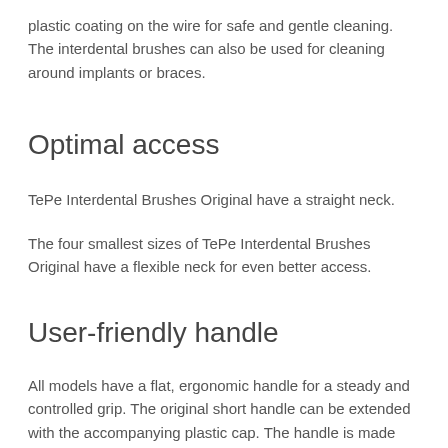plastic coating on the wire for safe and gentle cleaning. The interdental brushes can also be used for cleaning around implants or braces.
Optimal access
TePe Interdental Brushes Original have a straight neck.
The four smallest sizes of TePe Interdental Brushes Original have a flexible neck for even better access.
User-friendly handle
All models have a flat, ergonomic handle for a steady and controlled grip. The original short handle can be extended with the accompanying plastic cap. The handle is made